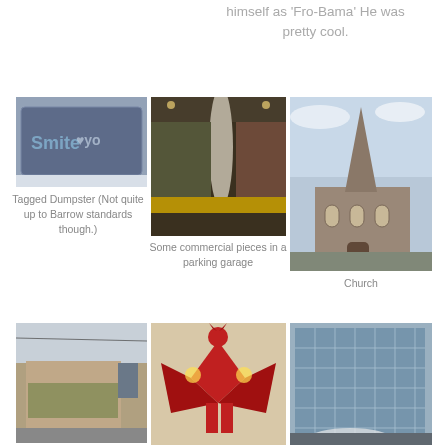himself as 'Fro-Bama' He was pretty cool.
[Figure (photo): Tagged dumpster with graffiti]
[Figure (photo): Commercial pieces in a parking garage interior with yellow barriers]
[Figure (photo): Gothic church with tall spire against cloudy sky]
Tagged Dumpster (Not quite up to Barrow standards though.)
Some commercial pieces in a parking garage
Church
[Figure (photo): Building exterior with mural on side wall]
[Figure (photo): Street art mural of devil/demon figure in red cape]
[Figure (photo): Modern glass building exterior]